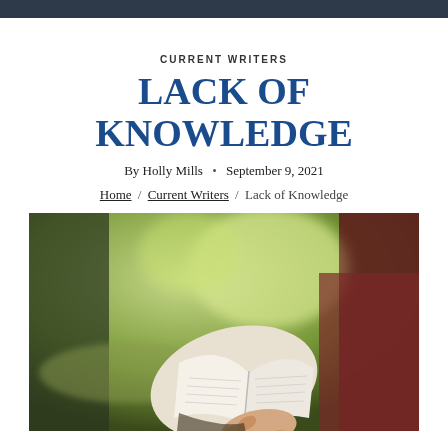CURRENT WRITERS
LACK OF KNOWLEDGE
By Holly Mills • September 9, 2021
Home / Current Writers / Lack of Knowledge
[Figure (photo): Person holding an open book outdoors, with a blurred green background. The person appears to be reading, with one hand on the pages.]